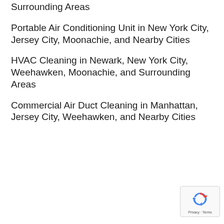Surrounding Areas
Portable Air Conditioning Unit in New York City, Jersey City, Moonachie, and Nearby Cities
HVAC Cleaning in Newark, New York City, Weehawken, Moonachie, and Surrounding Areas
Commercial Air Duct Cleaning in Manhattan, Jersey City, Weehawken, and Nearby Cities
[Figure (logo): Google reCAPTCHA badge with recycling arrow icon and Privacy · Terms text]